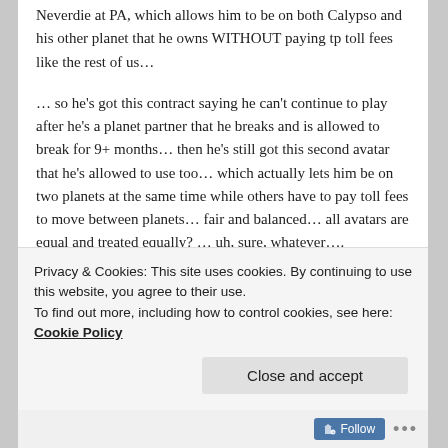Neverdie at PA, which allows him to be on both Calypso and his other planet that he owns WITHOUT paying tp toll fees like the rest of us…
… so he's got this contract saying he can't continue to play after he's a planet partner that he breaks and is allowed to break for 9+ months… then he's still got this second avatar that he's allowed to use too… which actually lets him be on two planets at the same time while others have to pay toll fees to move between planets… fair and balanced… all avatars are equal and treated equally? … uh, sure, whatever….
——
Privacy & Cookies: This site uses cookies. By continuing to use this website, you agree to their use.
To find out more, including how to control cookies, see here: Cookie Policy